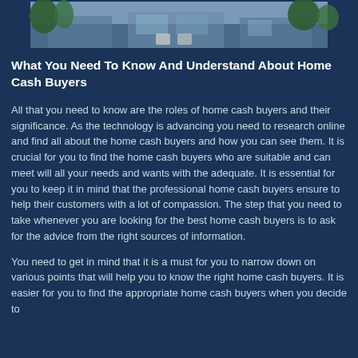[Figure (photo): Partial view of a modern house exterior with vegetation and architectural elements visible at the top of the page]
What You Need To Know And Understand About Home Cash Buyers
All that you need to know are the roles of home cash buyers and their significance. As the technology is advancing you need to research online and find all about the home cash buyers and how you can see them. It is crucial for you to find the home cash buyers who are suitable and can meet will all your needs and wants with the adequate. It is essential for you to keep it in mind that the professional home cash buyers ensure to help their customers with a lot of compassion. The step that you need to take whenever you are looking for the best home cash buyers is to ask for the advice from the right sources of information.
You need to get in mind that it is a must for you to narrow down on various points that will help you to know the right home cash buyers. It is easier for you to find the appropriate home cash buyers when you decide to